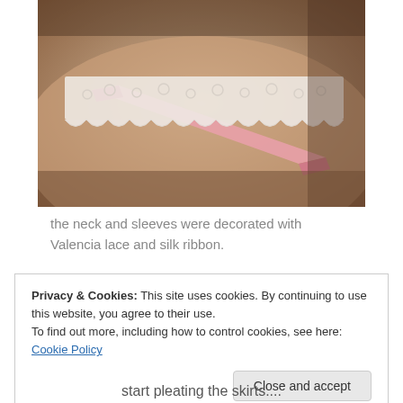[Figure (photo): Close-up photo of a garment showing a pink silk ribbon threaded through white Valencia lace trim at the neckline, laid on a pink/mauve satin fabric background.]
the neck and sleeves were decorated with Valencia lace and silk ribbon.
Privacy & Cookies: This site uses cookies. By continuing to use this website, you agree to their use.
To find out more, including how to control cookies, see here: Cookie Policy
Close and accept
start pleating the skirts....